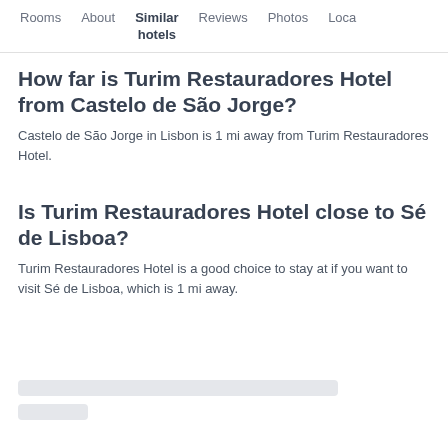Rooms   About   Similar hotels   Reviews   Photos   Loca
How far is Turim Restauradores Hotel from Castelo de São Jorge?
Castelo de São Jorge in Lisbon is 1 mi away from Turim Restauradores Hotel.
Is Turim Restauradores Hotel close to Sé de Lisboa?
Turim Restauradores Hotel is a good choice to stay at if you want to visit Sé de Lisboa, which is 1 mi away.